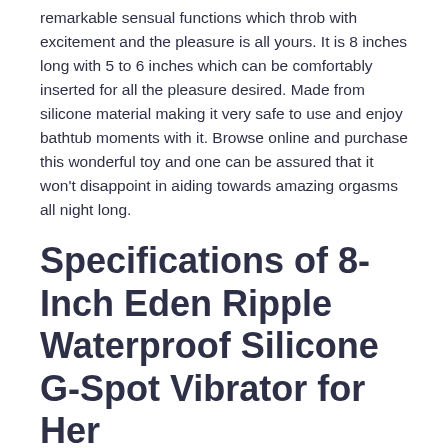remarkable sensual functions which throb with excitement and the pleasure is all yours. It is 8 inches long with 5 to 6 inches which can be comfortably inserted for all the pleasure desired. Made from silicone material making it very safe to use and enjoy bathtub moments with it. Browse online and purchase this wonderful toy and one can be assured that it won't disappoint in aiding towards amazing orgasms all night long.
Specifications of 8-Inch Eden Ripple Waterproof Silicone G-Spot Vibrator for Her
Length : 8 Inches
Washing : Hot soapy water and toy cleaner
Insertable : 5 to 6 inches
Diameter : 1.5 Inches
Colour : Blue
Flexibility : Firm
Controller : Built In